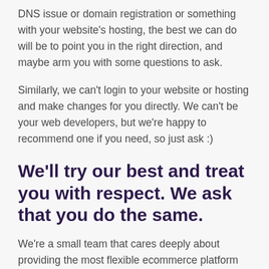DNS issue or domain registration or something with your website's hosting, the best we can do will be to point you in the right direction, and maybe arm you with some questions to ask.
Similarly, we can't login to your website or hosting and make changes for you directly. We can't be your web developers, but we're happy to recommend one if you need, so just ask :)
We'll try our best and treat you with respect. We ask that you do the same.
We're a small team that cares deeply about providing the most flexible ecommerce platform around, with support that exceeds your expectations. We're fortunate to have truly